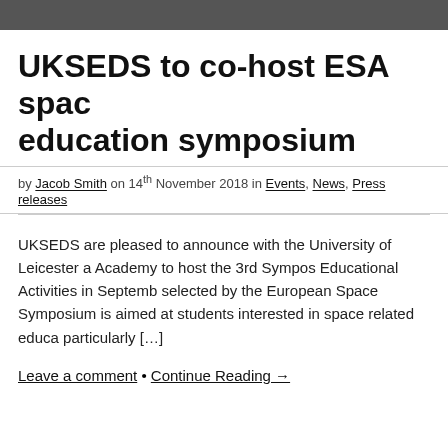UKSEDS to co-host ESA space education symposium
by Jacob Smith on 14th November 2018 in Events, News, Press releases
UKSEDS are pleased to announce with the University of Leicester and Academy to host the 3rd Symposium on Educational Activities in September, selected by the European Space Symposium is aimed at students interested in space related education, particularly [...]
Leave a comment • Continue Reading →